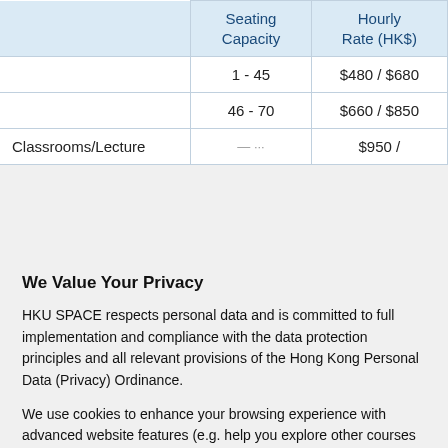|  | Seating Capacity | Hourly Rate (HK$) |
| --- | --- | --- |
|  | 1 - 45 | $480 / $680 |
|  | 46 - 70 | $660 / $850 |
| Classrooms/Lecture | 71 - 100 | $950 / |
We Value Your Privacy
HKU SPACE respects personal data and is committed to full implementation and compliance with the data protection principles and all relevant provisions of the Hong Kong Personal Data (Privacy) Ordinance.
We use cookies to enhance your browsing experience with advanced website features (e.g. help you explore other courses based on your browsing history on our website). By continuing to visit this site, you agree to our Use of Cookies. Learn more